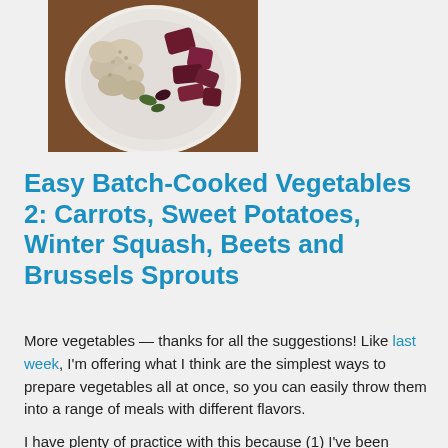[Figure (photo): Overhead photo of a white plate on a wooden table, containing roasted or cooked vegetables including beets (deep red/purple chunks) and what appears to be cauliflower or roasted mushrooms (pale, textured pieces) with some greens.]
Easy Batch-Cooked Vegetables 2: Carrots, Sweet Potatoes, Winter Squash, Beets and Brussels Sprouts
More vegetables — thanks for all the suggestions! Like last week, I'm offering what I think are the simplest ways to prepare vegetables all at once, so you can easily throw them into a range of meals with different flavors.
I have plenty of practice with this because (1) I've been eating